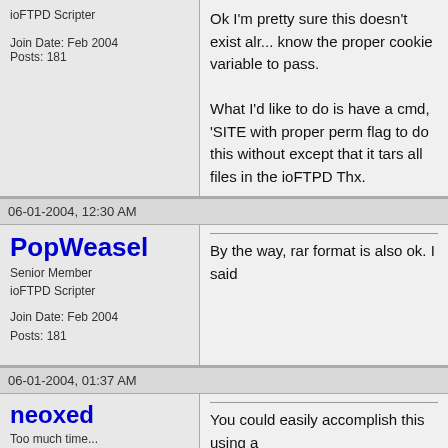ioFTPD Scripter
Join Date: Feb 2004
Posts: 181
Ok I'm pretty sure this doesn't exist already, but I don't know the proper cookie variable to pass.

What I'd like to do is have a cmd, 'SITE ...' with proper perm flag to do this without ... except that it tars all files in the ioFTPD...
Thx.
06-01-2004, 12:30 AM
PopWeasel
Senior Member
ioFTPD Scripter

Join Date: Feb 2004
Posts: 181
By the way, rar format is also ok. I said
06-01-2004, 01:37 AM
neoxed
Too much time...
FlashFXP Beta Tester
ioFTPD Scripter

Join Date: May 2003
You could easily accomplish this using a

dir /a /b > files.lst